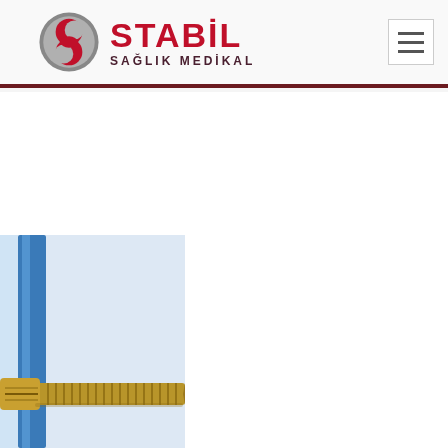STABİL SAĞLIK MEDİKAL
[Figure (logo): Stabil Sağlık Medikal logo with circular S emblem in gray and red, company name in red and dark maroon]
[Figure (photo): Close-up photo of a medical bone screw (orthopedic implant) in gold/brass color inserted through a blue tube or rod, shown partially cropped at lower left of page]